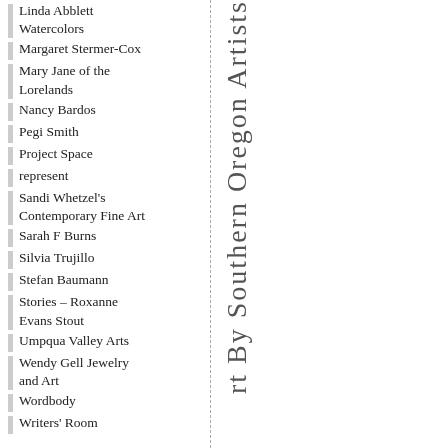Linda Abblett Watercolors
Margaret Stermer-Cox
Mary Jane of the Lorelands
Nancy Bardos
Pegi Smith
Project Space
represent
Sandi Whetzel's Contemporary Fine Art
Sarah F Burns
Silvia Trujillo
Stefan Baumann
Stories – Roxanne Evans Stout
Umpqua Valley Arts
Wendy Gell Jewelry and Art
Wordbody
Writers' Room
rt By Southern Oregon Artists